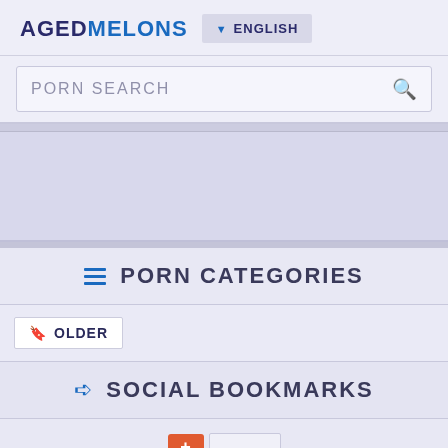AGEDMELONS   ENGLISH
PORN SEARCH
[Figure (other): Advertisement banner placeholder area]
PORN CATEGORIES
OLDER
SOCIAL BOOKMARKS
[Figure (other): AddThis social bookmarks button and share widget]